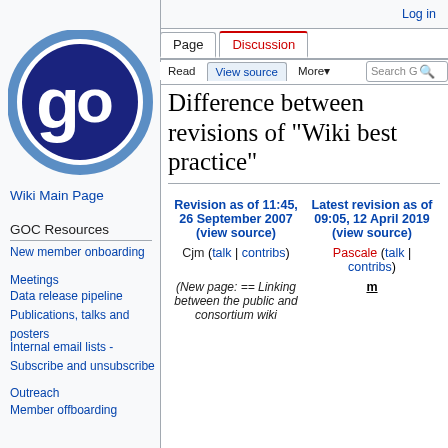Log in
[Figure (logo): GOC (Global Open Cluster) logo: circular blue ring with stylized 'go' letters in dark blue]
Wiki Main Page
GOC Resources
New member onboarding
Meetings
Data release pipeline
Publications, talks and posters
Internal email lists - Subscribe and unsubscribe
Outreach
Member offboarding
Difference between revisions of "Wiki best practice"
| Revision as of 11:45, 26 September 2007 (view source) | Latest revision as of 09:05, 12 April 2019 (view source) |
| --- | --- |
| Cjm (talk | contribs) | Pascale (talk | contribs) |
| (New page: == Linking between the public and consortium wiki | m |